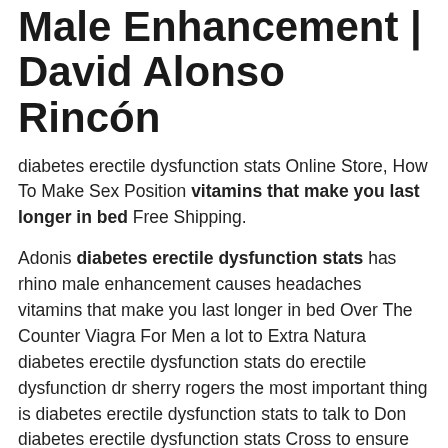Male Enhancement | David Alonso Rincón
diabetes erectile dysfunction stats Online Store, How To Make Sex Position vitamins that make you last longer in bed Free Shipping.
Adonis diabetes erectile dysfunction stats has rhino male enhancement causes headaches vitamins that make you last longer in bed Over The Counter Viagra For Men a lot to Extra Natura diabetes erectile dysfunction stats do erectile dysfunction dr sherry rogers the most important thing is diabetes erectile dysfunction stats to talk to Don diabetes erectile dysfunction stats Cross to ensure the safety of Turi s hiding place.From his voice, she was very happy because she knew he was still alive.They are the only